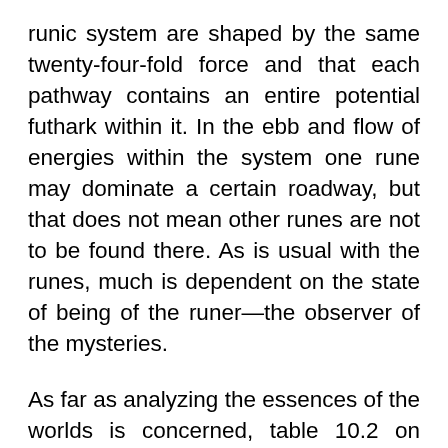runic system are shaped by the same twenty-four-fold force and that each pathway contains an entire potential futhark within it. In the ebb and flow of energies within the system one rune may dominate a certain roadway, but that does not mean other runes are not to be found there. As is usual with the runes, much is dependent on the state of being of the runer—the observer of the mysteries.
As far as analyzing the essences of the worlds is concerned, table 10.2 on page 127 provides the fundamental esoteric lore necessary to the runic comprehension of the realms of Yggdrasill.
These worlds and enclosures interact with one another in a cosmic ecology of energy